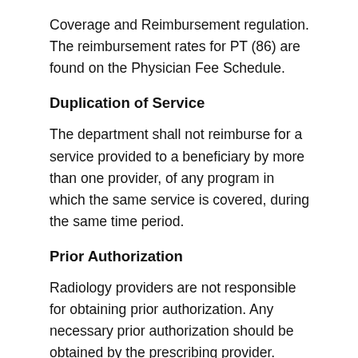Coverage and Reimbursement regulation. The reimbursement rates for PT (86) are found on the Physician Fee Schedule.
Duplication of Service
The department shall not reimburse for a service provided to a beneficiary by more than one provider, of any program in which the same service is covered, during the same time period.
Prior Authorization
Radiology providers are not responsible for obtaining prior authorization. Any necessary prior authorization should be obtained by the prescribing provider. CareWise provides prior authorizations for any Fee-for-Service (FFS) beneficiaries. Each